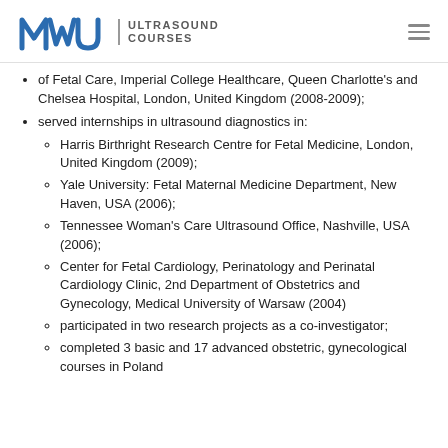MWU ULTRASOUND COURSES
of Fetal Care, Imperial College Healthcare, Queen Charlotte's and Chelsea Hospital, London, United Kingdom (2008-2009);
served internships in ultrasound diagnostics in:
Harris Birthright Research Centre for Fetal Medicine, London, United Kingdom (2009);
Yale University: Fetal Maternal Medicine Department, New Haven, USA (2006);
Tennessee Woman's Care Ultrasound Office, Nashville, USA (2006);
Center for Fetal Cardiology, Perinatology and Perinatal Cardiology Clinic, 2nd Department of Obstetrics and Gynecology, Medical University of Warsaw (2004)
participated in two research projects as a co-investigator;
completed 3 basic and 17 advanced obstetric, gynecological courses in Poland